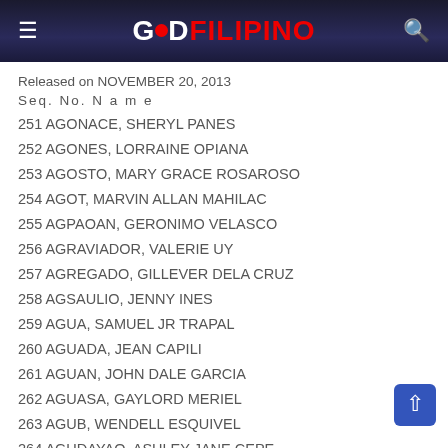GOOD FILIPINO
Released on NOVEMBER 20, 2013
Seq. No. N a m e
251 AGONACE, SHERYL PANES
252 AGONES, LORRAINE OPIANA
253 AGOSTO, MARY GRACE ROSAROSO
254 AGOT, MARVIN ALLAN MAHILAC
255 AGPAOAN, GERONIMO VELASCO
256 AGRAVIADOR, VALERIE UY
257 AGREGADO, GILLEVER DELA CRUZ
258 AGSAULIO, JENNY INES
259 AGUA, SAMUEL JR TRAPAL
260 AGUADA, JEAN CAPILI
261 AGUAN, JOHN DALE GARCIA
262 AGUASA, GAYLORD MERIEL
263 AGUB, WENDELL ESQUIVEL
264 AGUDAYAO, ASHLEY JANE CEPE
265 AGUDON, JESSIE BARRIENTOS